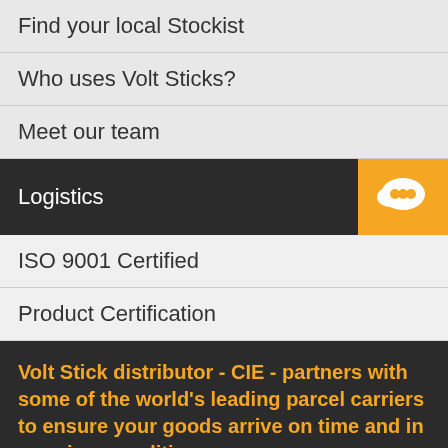Find your local Stockist
Who uses Volt Sticks?
Meet our team
Logistics
ISO 9001 Certified
Product Certification
Volt Stick distributor - CIE - partners with some of the world's leading parcel carriers to ensure your goods arrive on time and in premium condition.
Our Logistics Team ensure that every package leaves our warehouse is packed and protected to the highest standards and that it arrives at your door in perfect condition ready for installation / use.